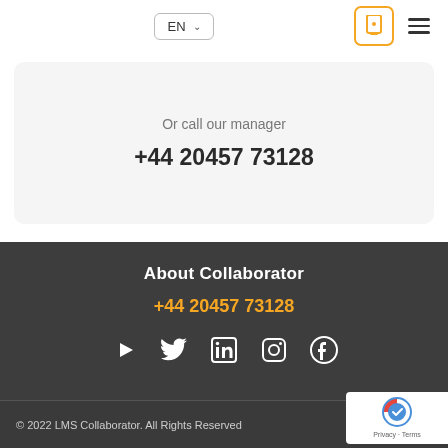EN  ∨
Or call our manager
+44 20457 73128
About Collaborator
+44 20457 73128
[Figure (illustration): Social media icons: YouTube, Twitter, LinkedIn, Instagram, Facebook]
© 2022 LMS Collaborator. All Rights Reserved